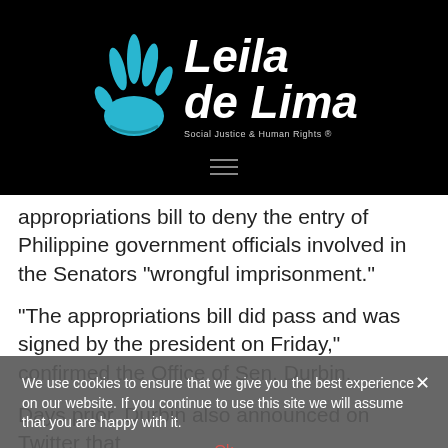[Figure (logo): Leila de Lima logo with blue hand graphic and white stylized text on black background, tagline: Social Justice & Human Rights]
appropriations bill to deny the entry of Philippine government officials involved in the Senators “wrongful imprisonment.”
“The appropriations bill did pass and was signed by the president on Friday,” confirmed the Office of Sen. Durbin.
Days prior, Durbin also announced on Twitter that
We use cookies to ensure that we give you the best experience on our website. If you continue to use this site we will assume that you are happy with it.
Ok